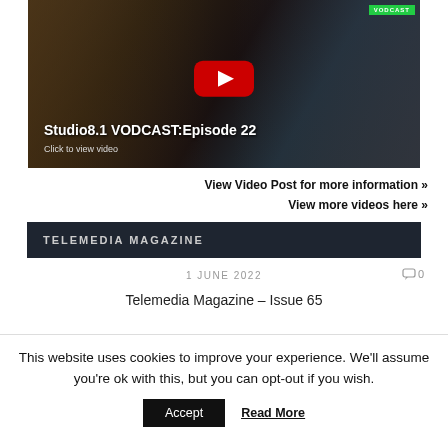[Figure (screenshot): YouTube-style video thumbnail showing two men, one saluting, for Studio8.1 VODCAST Episode 22. Has a red play button in the center and a green VODCAST label in the top right.]
Studio8.1 VODCAST:Episode 22
Click to view video
View Video Post for more information »
View more videos here »
TELEMEDIA MAGAZINE
1 JUNE 2022
0
Telemedia Magazine – Issue 65
This website uses cookies to improve your experience. We'll assume you're ok with this, but you can opt-out if you wish.
Accept
Read More